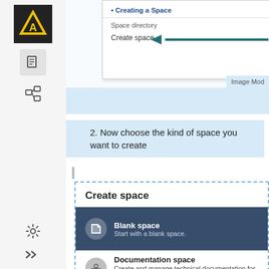[Figure (screenshot): Sidebar with logo and navigation icons on the left; main content area showing a dropdown menu with 'Creating a Space' and 'Create space' highlighted by a teal arrow, and a light blue 'Image Mod' label area at the bottom of the screenshot region.]
2. Now choose the kind of space you want to create
[Figure (screenshot): Create space panel with dotted border showing two options: 'Blank space - Start with a blank space.' highlighted in dark blue, and 'Documentation space - Create and manage technical documentation for your products' below it.]